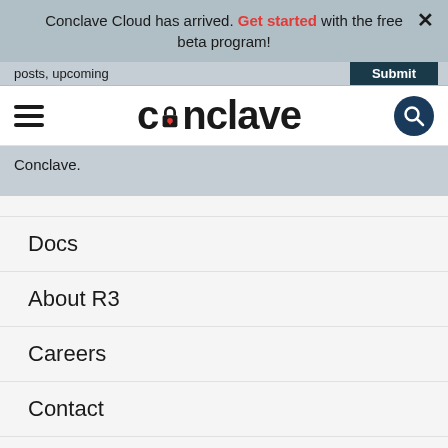Conclave Cloud has arrived. Get started with the free beta program!
posts, upcoming
[Figure (logo): Conclave logo with hamburger menu on left and search icon on right]
Conclave.
Docs
About R3
Careers
Contact
Discover Corda